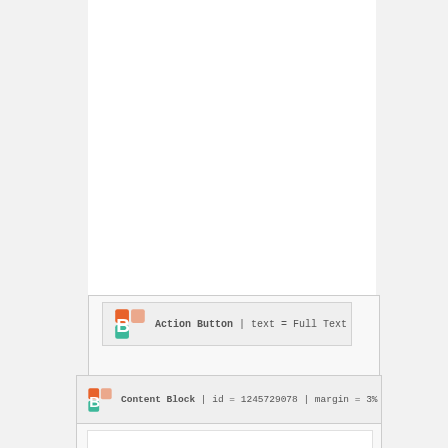[Figure (screenshot): UI builder screenshot showing two component blocks. Top block: Action Button with text = Full Text. Bottom block: Content Block with id = 1245729078, margin = 3%.]